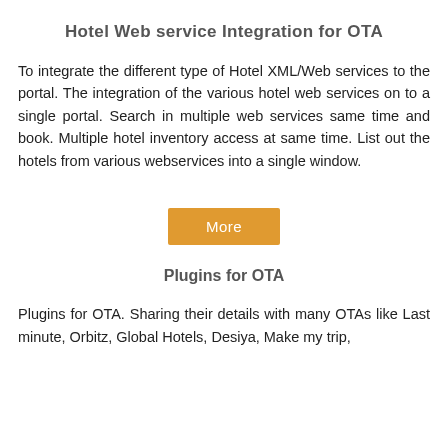Hotel Web service Integration for OTA
To integrate the different type of Hotel XML/Web services to the portal. The integration of the various hotel web services on to a single portal. Search in multiple web services same time and book. Multiple hotel inventory access at same time. List out the hotels from various webservices into a single window.
More
Plugins for OTA
Plugins for OTA. Sharing their details with many OTAs like Last minute, Orbitz, Global Hotels, Desiya, Make my trip,